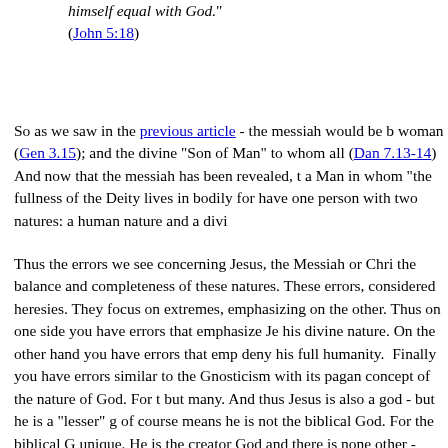himself equal with God." (John 5:18)
So as we saw in the previous article - the messiah would be born of a woman (Gen 3.15); and the divine "Son of Man" to whom all... (Dan 7.13-14) And now that the messiah has been revealed, a Man in whom "the fullness of the Deity lives in bodily form... have one person with two natures: a human nature and a divine...
Thus the errors we see concerning Jesus, the Messiah or Christ... the balance and completeness of these natures. These errors, considered heresies. They focus on extremes, emphasizing one over the other. Thus on one side you have errors that emphasize Jesus' his divine nature. On the other hand you have errors that emphasize... deny his full humanity. Finally you have errors similar to the Gnosticism with its pagan concept of the nature of God. For the gods are but many. And thus Jesus is also a god - but he is a "lesser" god which of course means he is not the biblical God. For the biblical God is unique. He is the creator God and there is none other - above... 46.9). Thus to claim Jesus is somehow not fully God, is to cla...